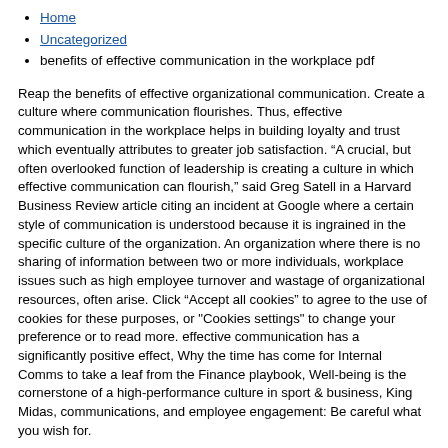Home
Uncategorized
benefits of effective communication in the workplace pdf
Reap the benefits of effective organizational communication. Create a culture where communication flourishes. Thus, effective communication in the workplace helps in building loyalty and trust which eventually attributes to greater job satisfaction. “A crucial, but often overlooked function of leadership is creating a culture in which effective communication can flourish,” said Greg Satell in a Harvard Business Review article citing an incident at Google where a certain style of communication is understood because it is ingrained in the specific culture of the organization. An organization where there is no sharing of information between two or more individuals, workplace issues such as high employee turnover and wastage of organizational resources, often arise. Click “Accept all cookies” to agree to the use of cookies for these purposes, or "Cookies settings" to change your preference or to read more. effective communication has a significantly positive effect, Why the time has come for Internal Comms to take a leaf from the Finance playbook, Well-being is the cornerstone of a high-performance culture in sport & business, King Midas, communications, and employee engagement: Be careful what you wish for.